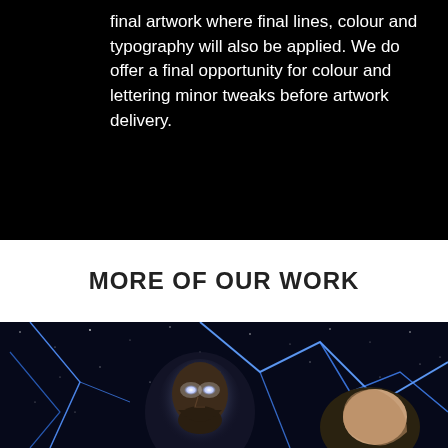final artwork where final lines, colour and typography will also be applied. We do offer a final opportunity for colour and lettering minor tweaks before artwork delivery.
MORE OF OUR WORK
[Figure (illustration): Comic book style illustration of two characters — one with glowing white eyes and a beard, the other partially visible — set against a dark space background with bright blue lightning or energy crack lines and stars.]